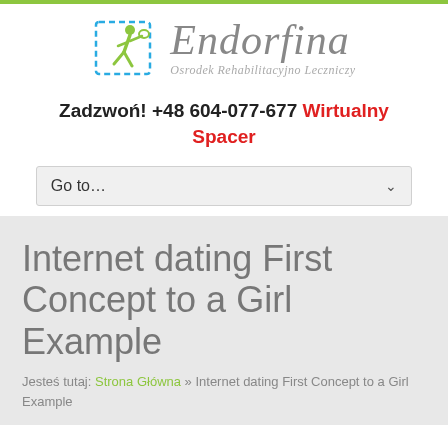[Figure (logo): Endorfina Osrodek Rehabilitacyjno Leczniczy logo with running figure icon in yellow-green and dashed blue rectangle frame]
Zadzwoń! +48 604-077-677 Wirtualny Spacer
Go to...
Internet dating First Concept to a Girl Example
Jesteś tutaj: Strona Główna » Internet dating First Concept to a Girl Example